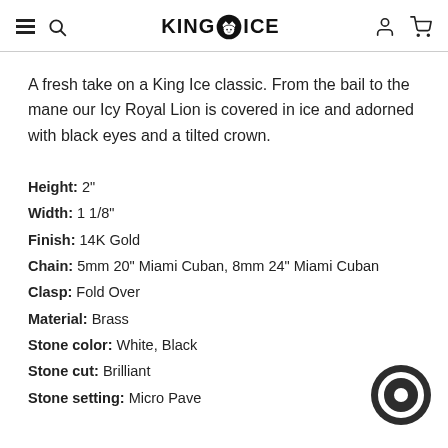KING ICE
A fresh take on a King Ice classic. From the bail to the mane our Icy Royal Lion is covered in ice and adorned with black eyes and a tilted crown.
Height: 2"
Width: 1 1/8"
Finish: 14K Gold
Chain: 5mm 20" Miami Cuban, 8mm 24" Miami Cuban
Clasp: Fold Over
Material: Brass
Stone color: White, Black
Stone cut: Brilliant
Stone setting: Micro Pave
[Figure (illustration): Chat bubble icon in dark circle, bottom right corner]